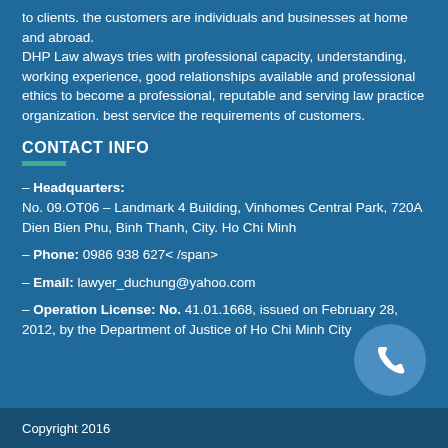to clients. the customers are individuals and businesses at home and abroad.
DHP Law always tries with professional capacity, understanding, working experience, good relationships available and professional ethics to become a professional, reputable and serving law practice organization. best service the requirements of customers.
CONTACT INFO
– Headquarters:
No. 09.OT06 – Landmark 4 Building, Vinhomes Central Park, 720A Dien Bien Phu, Binh Thanh, City. Ho Chi Minh
– Phone: 0986 938 627< /span>
– Email: lawyer_duchung@yahoo.com
– Operation License: No. 41.01.1668, issued on February 28, 2012, by the Department of Justice of Ho Chi Minh City
Copyright 2016